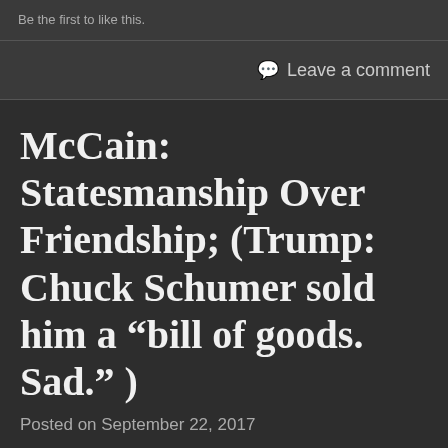Be the first to like this.
Leave a comment
McCain: Statesmanship Over Friendship; (Trump: Chuck Schumer sold him a “bill of goods. Sad.” )
Posted on September 22, 2017
The last time Sen. John McCain, R-Ariz, was in the healthcare debate spotlight came in a tense vote last July to repeal and replace Obamacare. Then, he strolled in the Senate chamber, and put his “thumbs